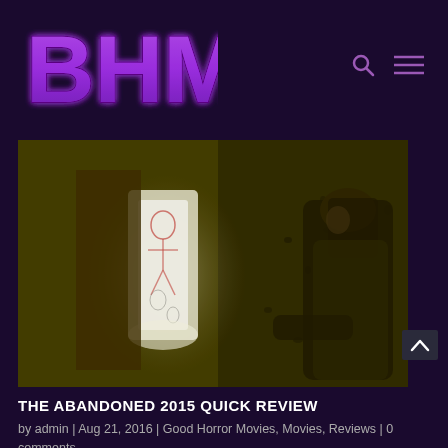[Figure (logo): BHM logo in purple gothic/horror font with glow effect on dark background]
[Figure (photo): Dark horror movie still showing a figure illuminated by a glowing white object against a yellow-green cave or dungeon wall, with a second shadowy figure visible on the right]
THE ABANDONED 2015 QUICK REVIEW
by admin | Aug 21, 2016 | Good Horror Movies, Movies, Reviews | 0 comments